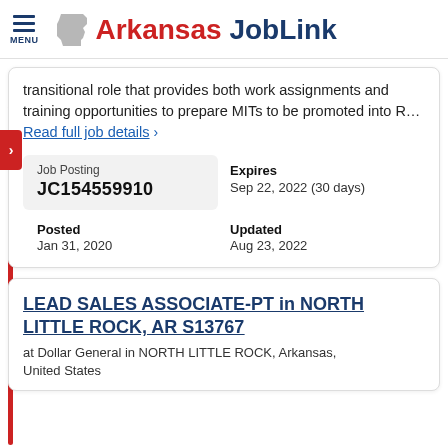Arkansas JobLink
transitional role that provides both work assignments and training opportunities to prepare MITs to be promoted into R... Read full job details >
| Job Posting | Expires |
| --- | --- |
| JC154559910 | Sep 22, 2022 (30 days) |
| Posted: Jan 31, 2020 | Updated: Aug 23, 2022 |
LEAD SALES ASSOCIATE-PT in NORTH LITTLE ROCK, AR S13767
at Dollar General in NORTH LITTLE ROCK, Arkansas, United States